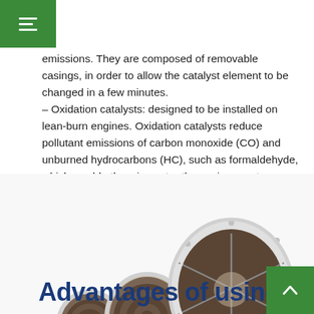Menu icon (hamburger) on green background
emissions. They are composed of removable casings, in order to allow the catalyst element to be changed in a few minutes.
– Oxidation catalysts: designed to be installed on lean-burn engines. Oxidation catalysts reduce pollutant emissions of carbon monoxide (CO) and unburned hydrocarbons (HC), such as formaldehyde, which would otherwise enter the environment.
[Figure (photo): Four industrial catalyst elements of increasing size arranged in a row, showing cylindrical honeycomb catalyst cores with grey metal casings, displayed against a white background.]
Advantages of using catalys